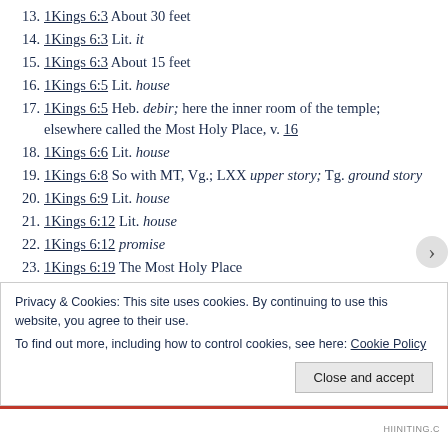13. 1Kings 6:3 About 30 feet
14. 1Kings 6:3 Lit. it
15. 1Kings 6:3 About 15 feet
16. 1Kings 6:5 Lit. house
17. 1Kings 6:5 Heb. debir; here the inner room of the temple; elsewhere called the Most Holy Place, v. 16
18. 1Kings 6:6 Lit. house
19. 1Kings 6:8 So with MT, Vg.; LXX upper story; Tg. ground story
20. 1Kings 6:9 Lit. house
21. 1Kings 6:12 Lit. house
22. 1Kings 6:12 promise
23. 1Kings 6:19 The Most Holy Place
2
2
2
Privacy & Cookies: This site uses cookies. By continuing to use this website, you agree to their use. To find out more, including how to control cookies, see here: Cookie Policy
Close and accept